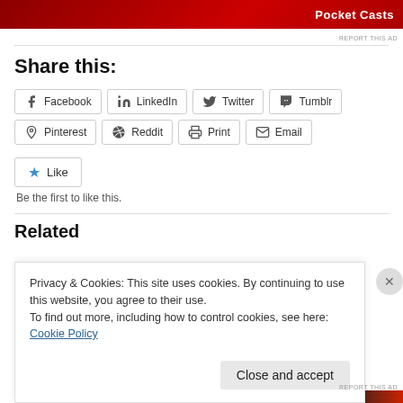[Figure (other): Pocket Casts advertisement banner with red background]
Share this:
Facebook
LinkedIn
Twitter
Tumblr
Pinterest
Reddit
Print
Email
Like
Be the first to like this.
Related
Privacy & Cookies: This site uses cookies. By continuing to use this website, you agree to their use.
To find out more, including how to control cookies, see here: Cookie Policy
Close and accept